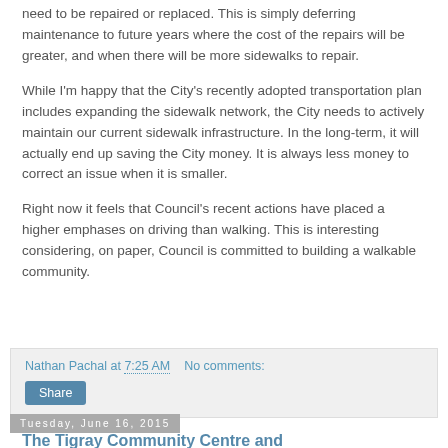need to be repaired or replaced. This is simply deferring maintenance to future years where the cost of the repairs will be greater, and when there will be more sidewalks to repair.
While I'm happy that the City's recently adopted transportation plan includes expanding the sidewalk network, the City needs to actively maintain our current sidewalk infrastructure. In the long-term, it will actually end up saving the City money. It is always less money to correct an issue when it is smaller.
Right now it feels that Council's recent actions have placed a higher emphases on driving than walking. This is interesting considering, on paper, Council is committed to building a walkable community.
Nathan Pachal at 7:25 AM   No comments:
Share
Tuesday, June 16, 2015
The Tigray Community Centre and...